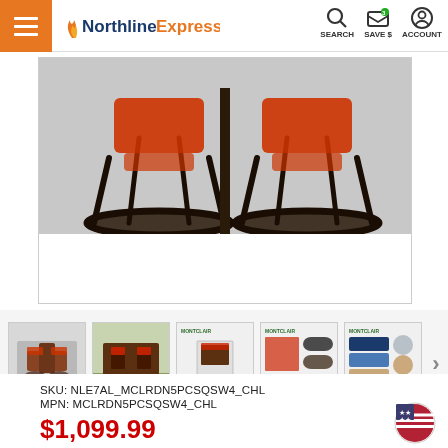NorthlineExpress — SEARCH, SAVE $, ACCOUNT
[Figure (photo): Close-up product photo of two dark metal swivel patio chairs with red cushions, showing the chair bases and circular metal frames against a white background.]
[Figure (photo): Row of five product thumbnail images: full dining set, chairs on patio, single chair spec sheet, hardware/cushion details sheet, fabric color options sheet.]
SKU: NLE7AL_MCLRDN5PCSQSW4_CHL
MPN: MCLRDN5PCSQSW4_CHL
$1,099.99